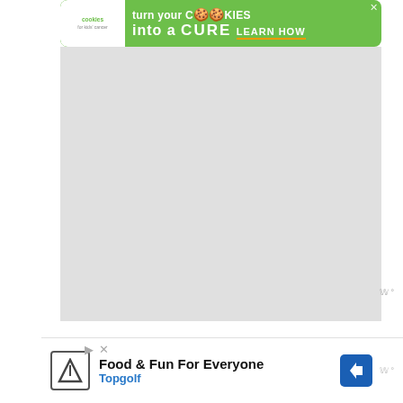[Figure (infographic): Cookies for Kids Cancer advertisement banner with green background. Text: 'turn your COOKIES into a CURE LEARN HOW'. Logo on left shows white background with cookies branding.]
[Figure (photo): Large grey/blank image area below the top ad banner, likely a placeholder for a photo.]
Perched atop Black Mountain overlooking both the botanical gardens and city below, is one of Canberra's standout symbols and sights: the enormous Telstra
[Figure (infographic): Topgolf advertisement. Text: 'Food & Fun For Everyone' and 'Topgolf'. Contains Topgolf logo and a blue navigation arrow icon.]